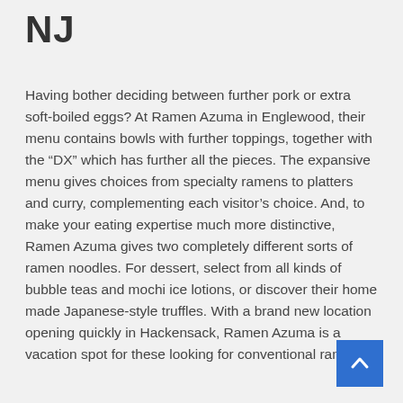NJ
Having bother deciding between further pork or extra soft-boiled eggs? At Ramen Azuma in Englewood, their menu contains bowls with further toppings, together with the “DX” which has further all the pieces. The expansive menu gives choices from specialty ramens to platters and curry, complementing each visitor’s choice. And, to make your eating expertise much more distinctive, Ramen Azuma gives two completely different sorts of ramen noodles. For dessert, select from all kinds of bubble teas and mochi ice lotions, or discover their home made Japanese-style truffles. With a brand new location opening quickly in Hackensack, Ramen Azuma is a vacation spot for these looking for conventional ramen.